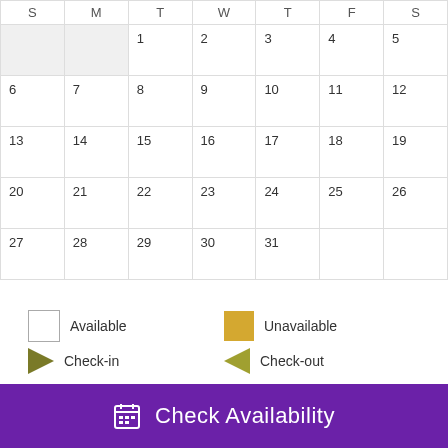| S | M | T | W | T | F | S |
| --- | --- | --- | --- | --- | --- | --- |
|  |  | 1 | 2 | 3 | 4 | 5 |
| 6 | 7 | 8 | 9 | 10 | 11 | 12 |
| 13 | 14 | 15 | 16 | 17 | 18 | 19 |
| 20 | 21 | 22 | 23 | 24 | 25 | 26 |
| 27 | 28 | 29 | 30 | 31 |  |  |
Available
Unavailable
Check-in
Check-out
Rates
* Rates are subject to change without notice. Pricing excludes taxes, additional